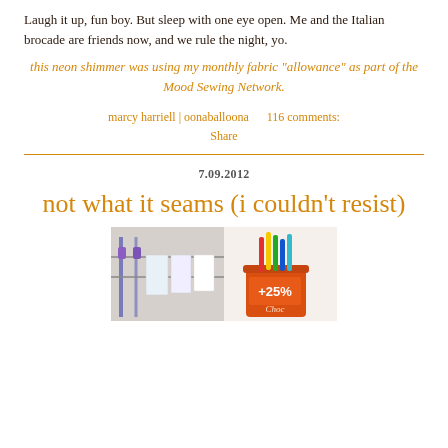Laugh it up, fun boy. But sleep with one eye open. Me and the Italian brocade are friends now, and we rule the night, yo.
this neon shimmer was using my monthly fabric "allowance" as part of the Mood Sewing Network.
marcy harriell | oonaballoona    116 comments:
Share
7.09.2012
not what it seams (i couldn't resist)
[Figure (photo): Photo of a laundry rack with fabric/papers on the left and a red tin cup labeled '+25%' with colorful markers/pens on the right]